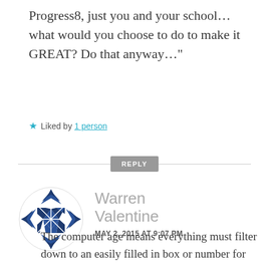Progress8, just you and your school…what would you choose to do to make it GREAT? Do that anyway…"
Liked by 1 person
REPLY
[Figure (logo): Warren Valentine avatar - blue geometric quilt pattern circle logo]
Warren Valentine
MAY 2, 2015 AT 9:07 PM
The computer age means everything must filter down to an easily filled in box or number for